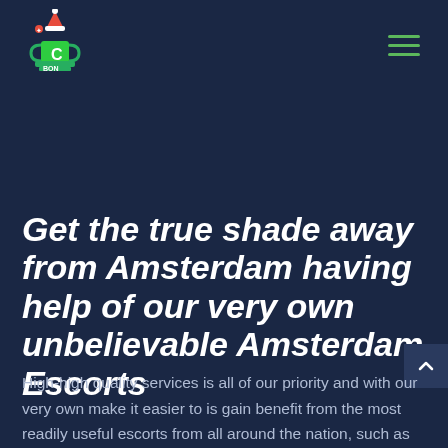[Figure (logo): Website logo with a trophy/cup icon and text 'C BON' with Christmas hat decoration]
[Figure (other): Hamburger menu icon with three green horizontal lines]
Get the true shade away from Amsterdam having help of our very own unbelievable Amsterdam Escorts
High-high quality services is all of our priority and with our very own make it easier to is gain benefit from the most readily useful escorts from all around the nation, such as escorts from the Uk (we.e. Leicester, Birmingham, Nottingham, Manchester